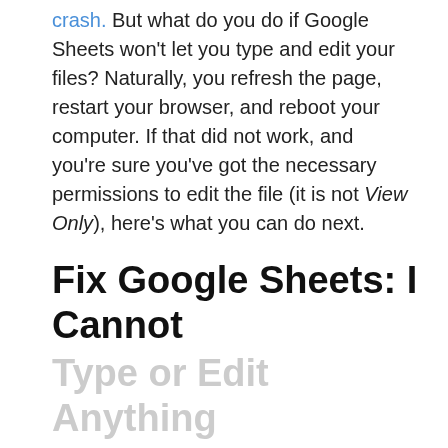crash. But what do you do if Google Sheets won't let you type and edit your files? Naturally, you refresh the page, restart your browser, and reboot your computer. If that did not work, and you're sure you've got the necessary permissions to edit the file (it is not View Only), here's what you can do next.
Fix Google Sheets: I Cannot Type or Edit Anything